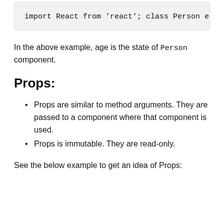[Figure (screenshot): Code block showing: import React from 'react'; class Person e]
In the above example, age is the state of Person component.
Props:
Props are similar to method arguments. They are passed to a component where that component is used.
Props is immutable. They are read-only.
See the below example to get an idea of Props: